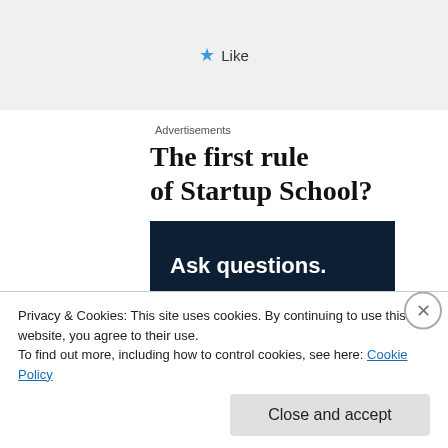[Figure (other): Like button area with blue star icon and 'Like' text on grey background]
Advertisements
The first rule of Startup School?
[Figure (other): Dark navy blue box with white bold text reading 'Ask questions.']
Privacy & Cookies: This site uses cookies. By continuing to use this website, you agree to their use.
To find out more, including how to control cookies, see here: Cookie Policy
Close and accept